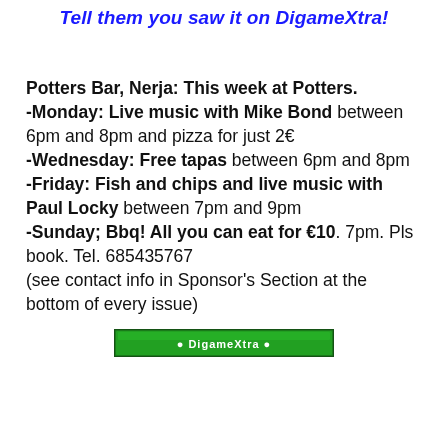Tell them you saw it on DigameXtra!
Potters Bar, Nerja: This week at Potters. -Monday: Live music with Mike Bond between 6pm and 8pm and pizza for just 2€ -Wednesday: Free tapas between 6pm and 8pm -Friday: Fish and chips and live music with Paul Locky between 7pm and 9pm -Sunday; Bbq! All you can eat for €10. 7pm. Pls book. Tel. 685435767 (see contact info in Sponsor's Section at the bottom of every issue)
[Figure (other): Green advertisement banner at the bottom of the page]